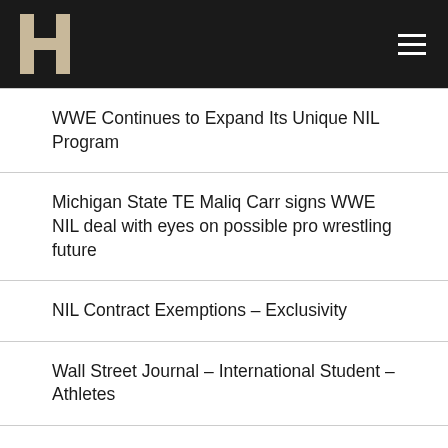HAWKER
WWE Continues to Expand Its Unique NIL Program
Michigan State TE Maliq Carr signs WWE NIL deal with eyes on possible pro wrestling future
NIL Contract Exemptions – Exclusivity
Wall Street Journal – International Student – Athletes
Shoutout Arizona